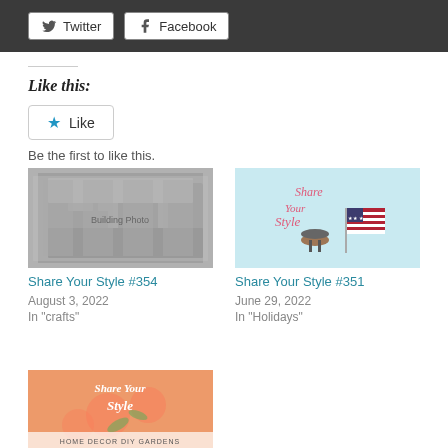[Figure (other): Twitter and Facebook share buttons in dark top bar]
Like this:
[Figure (other): Like button with blue star icon]
Be the first to like this.
[Figure (photo): Black and white photo of a grand European building (Share Your Style #354)]
Share Your Style #354
August 3, 2022
In "crafts"
[Figure (photo): Share Your Style graphic with BBQ grill and American flag (Share Your Style #351)]
Share Your Style #351
June 29, 2022
In "Holidays"
[Figure (photo): Share Your Style peach/floral graphic with text (Share Your Style #356)]
Share Your Style #356